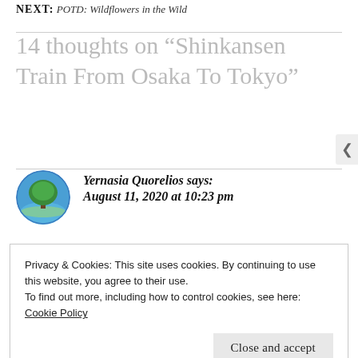NEXT: POTD: Wildflowers in the Wild
14 thoughts on “Shinkansen Train From Osaka To Tokyo”
Yernasia Quorelios says:
August 11, 2020 at 10:23 pm
Privacy & Cookies: This site uses cookies. By continuing to use this website, you agree to their use.
To find out more, including how to control cookies, see here: Cookie Policy
Close and accept